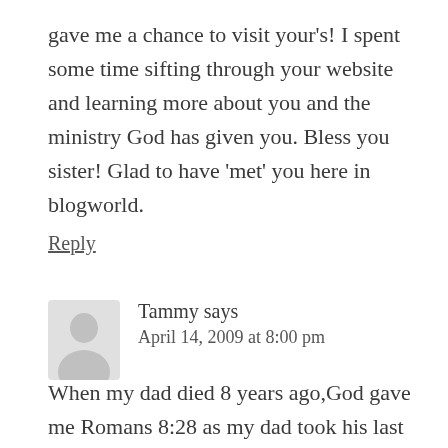gave me a chance to visit your's! I spent some time sifting through your website and learning more about you and the ministry God has given you. Bless you sister! Glad to have 'met' you here in blogworld.
Reply
Tammy says
April 14, 2009 at 8:00 pm
When my dad died 8 years ago,God gave me Romans 8:28 as my dad took his last breath.At the time,I wasn't familiar with the verse but now I